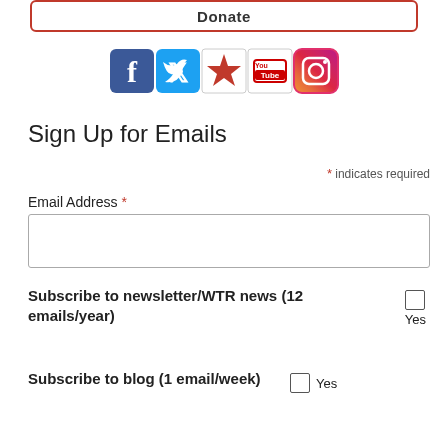[Figure (other): Donate button with red border at top of page]
[Figure (other): Row of social media icons: Facebook, Twitter, a star logo, YouTube, Instagram]
Sign Up for Emails
* indicates required
Email Address *
Subscribe to newsletter/WTR news (12 emails/year)   Yes
Subscribe to blog (1 email/week)   Yes